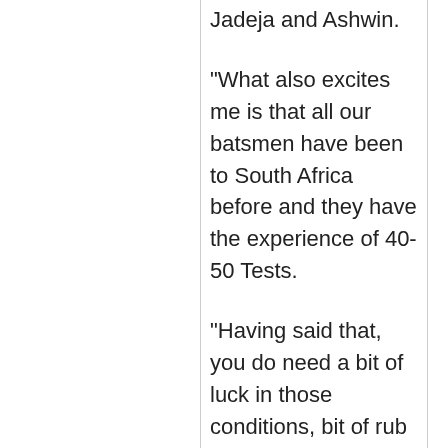Jadeja and Ashwin.
"What also excites me is that all our batsmen have been to South Africa before and they have the experience of 40-50 Tests.
"Having said that, you do need a bit of luck in those conditions, bit of rub of the green. If we get that, I am very confident about our chances," said Dravid, who is currently coaching the U-19 and India A sides.
India have been playing non-stop cricket since the